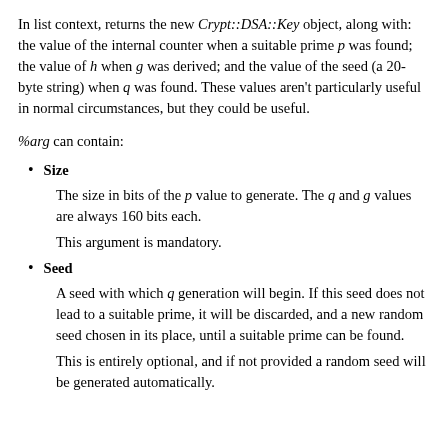In list context, returns the new Crypt::DSA::Key object, along with: the value of the internal counter when a suitable prime p was found; the value of h when g was derived; and the value of the seed (a 20-byte string) when q was found. These values aren't particularly useful in normal circumstances, but they could be useful.
%arg can contain:
Size
The size in bits of the p value to generate. The q and g values are always 160 bits each.
This argument is mandatory.
Seed
A seed with which q generation will begin. If this seed does not lead to a suitable prime, it will be discarded, and a new random seed chosen in its place, until a suitable prime can be found.
This is entirely optional, and if not provided a random seed will be generated automatically.